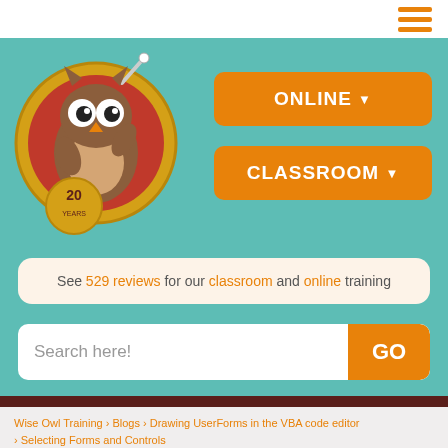[Figure (logo): Wise Owl Training logo - cartoon owl mascot in gold circle with 20th anniversary badge]
ONLINE ▼
CLASSROOM ▼
See 529 reviews for our classroom and online training
Search here!
This website uses cookies!
OK
MORE
Wise Owl Training > Blogs > Drawing UserForms in the VBA code editor > Selecting Forms and Controls